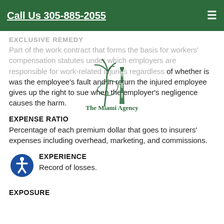Call Us 305-885-2055
[Figure (logo): The Miami Agency logo with lighthouse and palm tree]
EXCLUSIVE REMEDY
Part of the work contract that forms the basis for workers' compensation statutes under which employers are responsible for work-related injuries regardless of whether is was the employee's fault and in return the injured employee gives up the right to sue when the employer's negligence causes the harm.
EXPENSE RATIO
Percentage of each premium dollar that goes to insurers' expenses including overhead, marketing, and commissions.
EXPERIENCE
Record of losses.
EXPOSURE